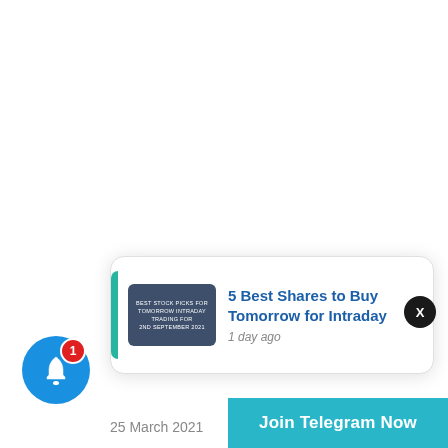[Figure (screenshot): White background area taking up the top portion of the page]
[Figure (infographic): Article notification card with thumbnail showing 'BEST STOCK PICKS FOR TOMORROW INTRADAY TRADING FOR 2ND SEPTEMBER 2021', article title '5 Best Shares to Buy Tomorrow for Intraday', timestamp '1 day ago']
5 Best Shares to Buy Tomorrow for Intraday
1 day ago
25 March 2021
Join Telegram Now